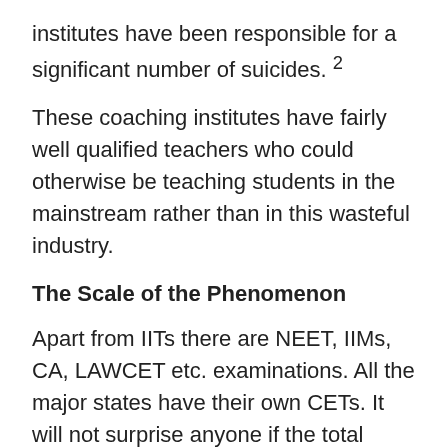institutes have been responsible for a significant number of suicides. 2
These coaching institutes have fairly well qualified teachers who could otherwise be teaching students in the mainstream rather than in this wasteful industry.
The Scale of the Phenomenon
Apart from IITs there are NEET, IIMs, CA, LAWCET etc. examinations. All the major states have their own CETs. It will not surprise anyone if the total number of aspirants for these qualifying exams exceeds 10 million. Most of them are in the age group of 17 – 25. In other words, a significant segment of youths, in their most productive phase, are wasting their time in